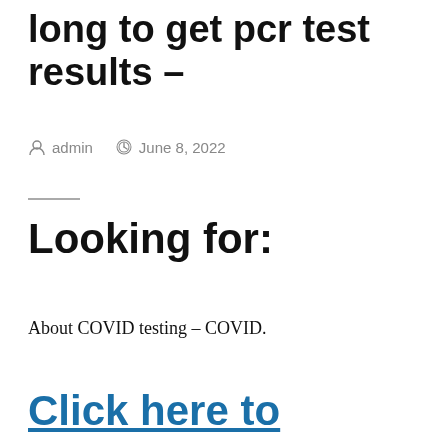long to get pcr test results –
admin   June 8, 2022
Looking for:
About COVID testing – COVID.
Click here to